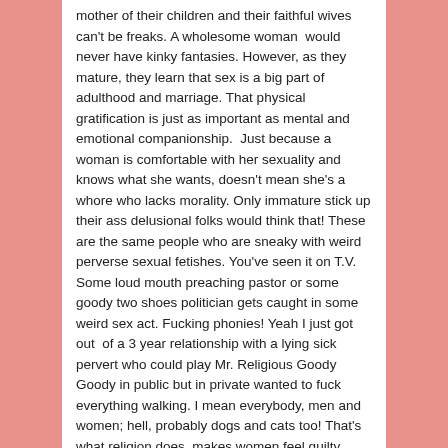mother of their children and their faithful wives can't be freaks. A wholesome woman  would never have kinky fantasies. However, as they mature, they learn that sex is a big part of adulthood and marriage. That physical gratification is just as important as mental and emotional companionship.  Just because a woman is comfortable with her sexuality and knows what she wants, doesn't mean she's a whore who lacks morality. Only immature stick up their ass delusional folks would think that! These are the same people who are sneaky with weird perverse sexual fetishes. You've seen it on T.V. Some loud mouth preaching pastor or some goody two shoes politician gets caught in some weird sex act. Fucking phonies! Yeah I just got out  of a 3 year relationship with a lying sick pervert who could play Mr. Religious Goody Goody in public but in private wanted to fuck everything walking. I mean everybody, men and women; hell, probably dogs and cats too! That's what religion does, makes women feel guilty about swallowing  dick! And men feel guilty about needing their dicks swallowed. Sex is the most human act; and expressed in a committed loving